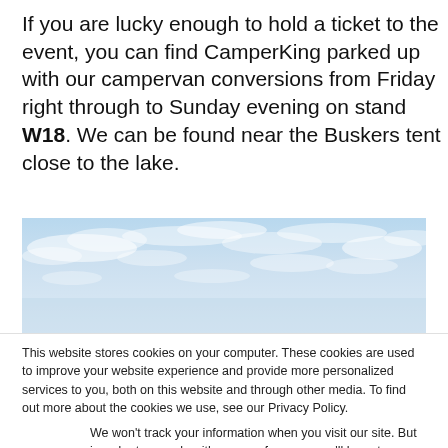If you are lucky enough to hold a ticket to the event, you can find CamperKing parked up with our campervan conversions from Friday right through to Sunday evening on stand W18. We can be found near the Buskers tent close to the lake.
[Figure (photo): A wide panoramic photo of a blue sky with scattered white clouds.]
This website stores cookies on your computer. These cookies are used to improve your website experience and provide more personalized services to you, both on this website and through other media. To find out more about the cookies we use, see our Privacy Policy.
We won't track your information when you visit our site. But in order to comply with your preferences, we'll have to use just one tiny cookie so that you're not asked to make this choice again.